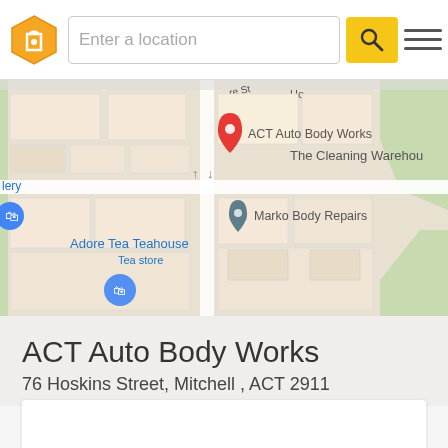[Figure (screenshot): Mobile app header with hexagon logo, search bar reading 'Enter a location', yellow search button with magnifier icon, and hamburger menu icon]
[Figure (map): Google Maps view showing ACT Auto Body Works location with a red pin marker, Marko Body Repairs with a grey pin, Adore Tea Teahouse, and The Cleaning Warehouse visible on the map]
ACT Auto Body Works
76 Hoskins Street, Mitchell , ACT 2911